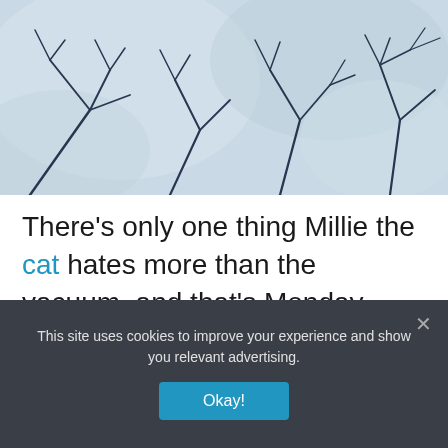[Figure (photo): Close-up photo of light blue fabric with dark navy branch/leaf line pattern printed on it, bunched/draped texture visible]
There's only one thing Millie the cat hates more than the vacuum, and that's Monday morning.
After a long weekend spent sleeping, napping, grooming, preening, sleeping, and napping, the last thing Millie wants to do is
This site uses cookies to improve your experience and show you relevant advertising.
Okay!